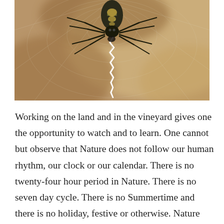[Figure (photo): Close-up macro photograph of a spider (likely a garden spider or argiope species) on its web, with a stabilimentum (zigzag white silk structure) visible below the spider. Background is blurred warm brown/tan tones.]
Working on the land and in the vineyard gives one the opportunity to watch and to learn. One cannot but observe that Nature does not follow our human rhythm, our clock or our calendar. There is no twenty-four hour period in Nature. There is no seven day cycle. There is no Summertime and there is no holiday, festive or otherwise. Nature and plants, bees, ants and mycorrhizae are busy doing their job, only guided by daylight and the sun, the moon and the